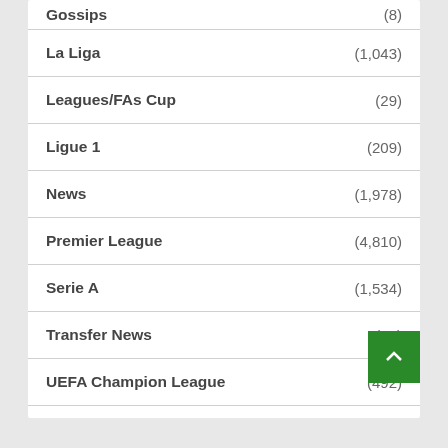Gossips (8)
La Liga (1,043)
Leagues/FAs Cup (29)
Ligue 1 (209)
News (1,978)
Premier League (4,810)
Serie A (1,534)
Transfer News (36)
UEFA Champion League (492)
UEFA Europa League (90)
UEFA Nations League